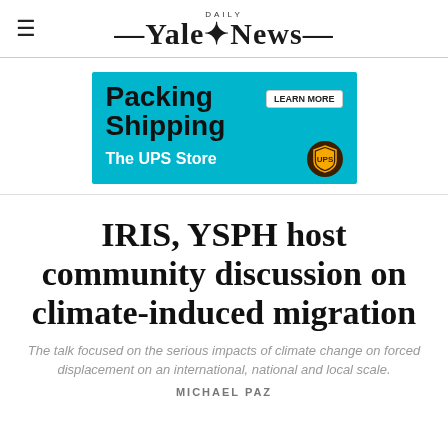Yale Daily News
[Figure (other): Advertisement banner for The UPS Store showing Packing Shipping services with teal background and UPS logo]
IRIS, YSPH host community discussion on climate-induced migration
The talk focused on the serious impacts of climate change on forced displacement on an international, national and local scale.
MICHAEL PAZ